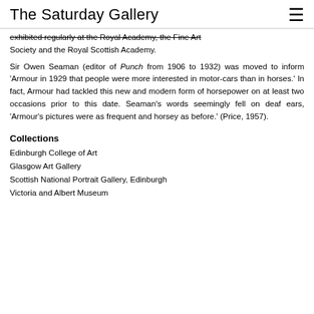The Saturday Gallery
exhibited regularly at the Royal Academy, the Fine Art Society and the Royal Scottish Academy.
Sir Owen Seaman (editor of Punch from 1906 to 1932) was moved to inform 'Armour in 1929 that people were more interested in motor-cars than in horses.' In fact, Armour had tackled this new and modern form of horsepower on at least two occasions prior to this date. Seaman's words seemingly fell on deaf ears, 'Armour's pictures were as frequent and horsey as before.' (Price, 1957).
Collections
Edinburgh College of Art
Glasgow Art Gallery
Scottish National Portrait Gallery, Edinburgh
Victoria and Albert Museum